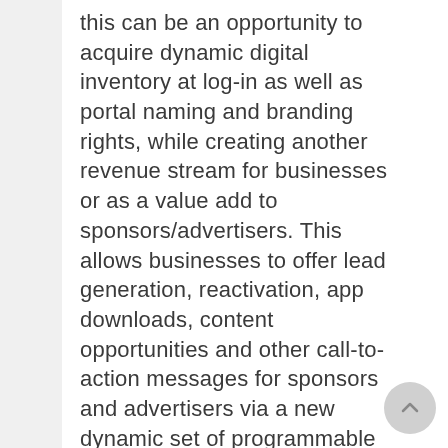this can be an opportunity to acquire dynamic digital inventory at log-in as well as portal naming and branding rights, while creating another revenue stream for businesses or as a value add to sponsors/advertisers. This allows businesses to offer lead generation, reactivation, app downloads, content opportunities and other call-to-action messages for sponsors and advertisers via a new dynamic set of programmable inventories.